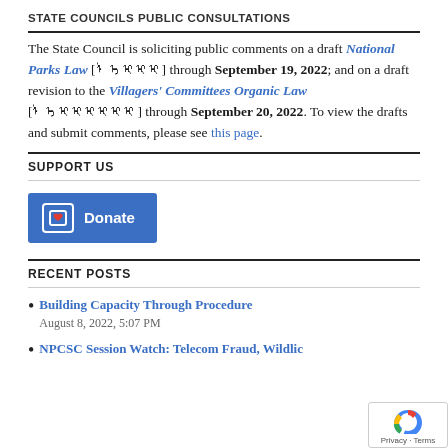STATE COUNCILS PUBLIC CONSULTATIONS
The State Council is soliciting public comments on a draft National Parks Law [ᠦᠨᠳᠦᠰᠦ] through September 19, 2022; and on a draft revision to the Villagers' Committees Organic Law [ᠲᠣᠰᠬᠣᠨ] through September 20, 2022. To view the drafts and submit comments, please see this page.
SUPPORT US
[Figure (other): Donate button with heart icon and blue background]
RECENT POSTS
Building Capacity Through Procedure
August 8, 2022, 5:07 PM
NPCSC Session Watch: Telecom Fraud, Wildlife...